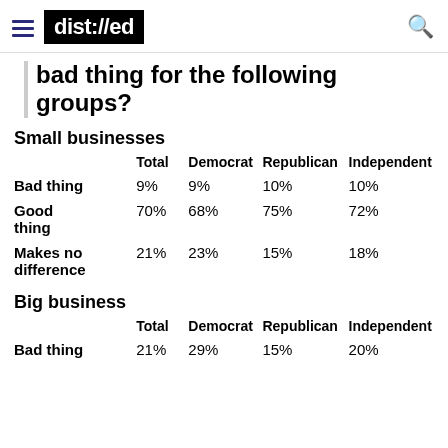dist://ed
bad thing for the following groups?
Small businesses
|  | Total | Democrat | Republican | Independent |
| --- | --- | --- | --- | --- |
| Bad thing | 9% | 9% | 10% | 10% |
| Good thing | 70% | 68% | 75% | 72% |
| Makes no difference | 21% | 23% | 15% | 18% |
Big business
|  | Total | Democrat | Republican | Independent |
| --- | --- | --- | --- | --- |
| Bad thing | 21% | 29% | 15% | 20% |